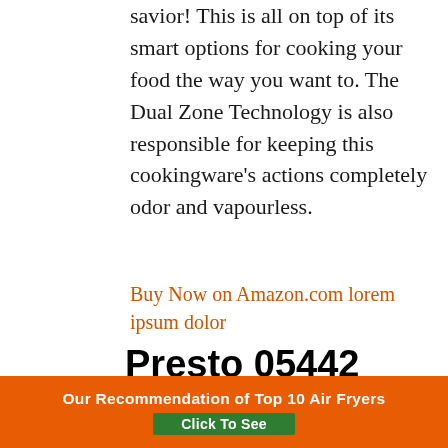savior! This is all on top of its smart options for cooking your food the way you want to. The Dual Zone Technology is also responsible for keeping this cookingware's actions completely odor and vapourless.
Buy Now on Amazon.com lorem ipsum dolor
Presto 05442
[Figure (photo): Top view of a gray kitchen appliance (air fryer), showing ventilation grilles on the lid]
Our Recommendation of Top 10 Air Fryers
Click To See